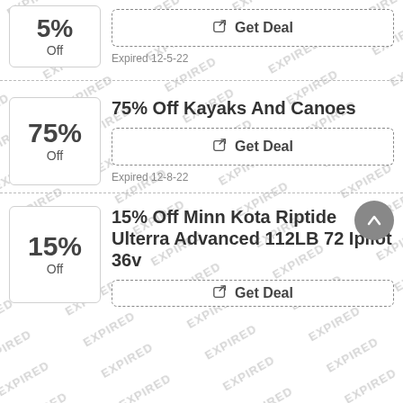5% Off — Get Deal — Expired 12-5-22
75% Off Kayaks And Canoes — Get Deal — Expired 12-8-22
15% Off Minn Kota Riptide Ulterra Advanced 112LB 72 Ipilot 36v — Get Deal